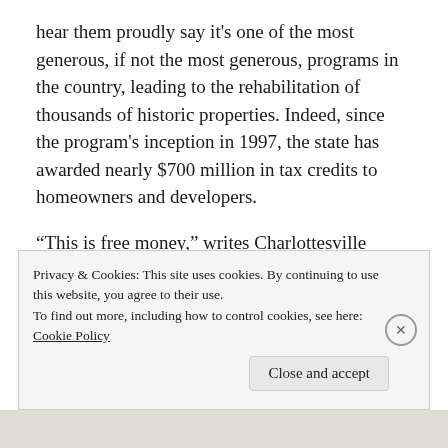hear them proudly say it's one of the most generous, if not the most generous, programs in the country, leading to the rehabilitation of thousands of historic properties. Indeed, since the program's inception in 1997, the state has awarded nearly $700 million in tax credits to homeowners and developers.
“This is free money,” writes Charlottesville architect Brian Broadus, who has specialized in historic building projects for over 20 years.
Privacy & Cookies: This site uses cookies. By continuing to use this website, you agree to their use.
To find out more, including how to control cookies, see here:
Cookie Policy